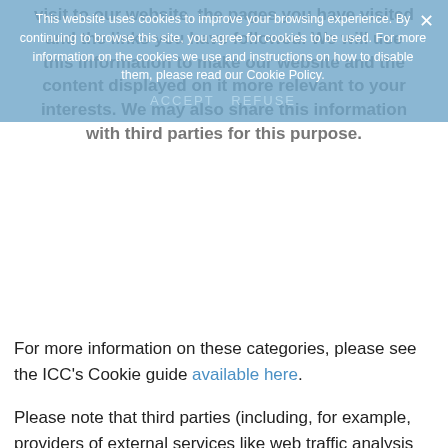[Figure (screenshot): Cookie consent banner overlay with blue semi-transparent background showing cookie policy notice with ACCEPT and REFUSE buttons and a close X button, overlapping page text about website cookie usage and data sharing.]
For more information on these categories, please see the ICC's Cookie guide available here.
Please note that third parties (including, for example, providers of external services like web traffic analysis services) may also use cookies, over which we have no control. These cookies are likely to be analytical/performance cookies or targeting cookies.
You can find more information about the individual cookies we use and the purposes for which we use them in the table below: